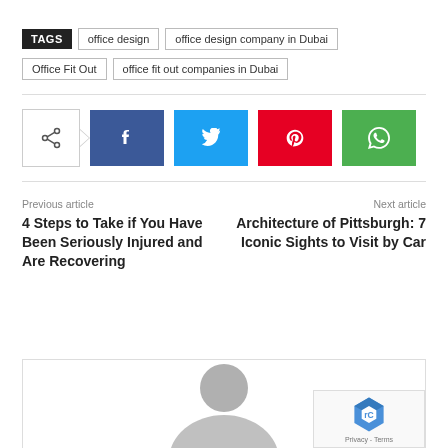TAGS   office design   office design company in Dubai   Office Fit Out   office fit out companies in Dubai
[Figure (infographic): Share buttons row: a share icon box with arrow, followed by Facebook (blue), Twitter (cyan), Pinterest (red), WhatsApp (green) social media buttons]
Previous article
Next article
4 Steps to Take if You Have Been Seriously Injured and Are Recovering
Architecture of Pittsburgh: 7 Iconic Sights to Visit by Car
[Figure (photo): Partial view of a user avatar placeholder (gray silhouette) inside a bordered box at the bottom of the page, with a reCAPTCHA overlay in the bottom-right corner showing Privacy - Terms text]